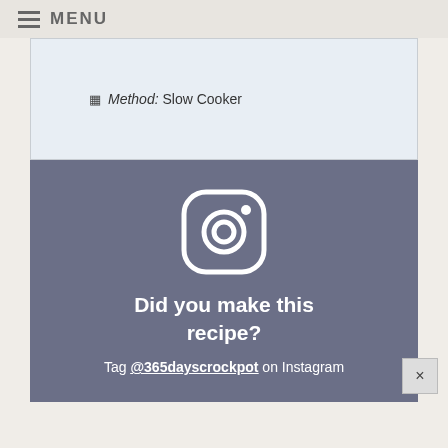MENU
Method: Slow Cooker
[Figure (infographic): Instagram call-to-action block with Instagram logo icon, text 'Did you make this recipe?' and 'Tag @365dayscrockpot on Instagram']
×